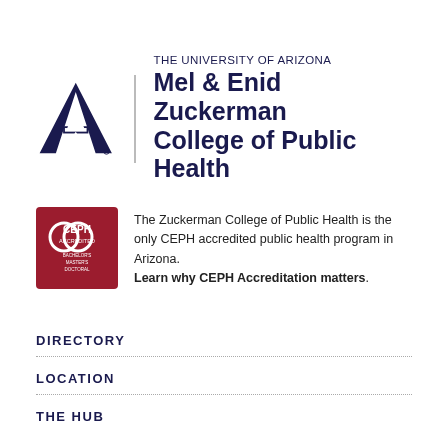[Figure (logo): University of Arizona logo — block letter A with UA initials in navy blue, with CEPH accredited badge]
THE UNIVERSITY OF ARIZONA Mel & Enid Zuckerman College of Public Health
The Zuckerman College of Public Health is the only CEPH accredited public health program in Arizona. Learn why CEPH Accreditation matters.
DIRECTORY
LOCATION
THE HUB